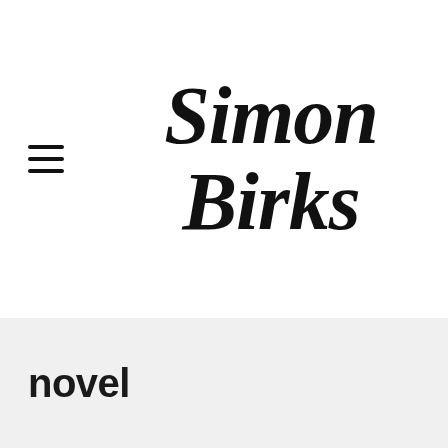[Figure (logo): Simon Birks author logo in large italic serif font, two-line layout: 'Simon' on top line, 'Birks' on bottom line, with a hamburger menu icon to the left]
novel